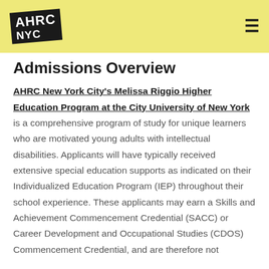AHRC NYC
Admissions Overview
AHRC New York City's Melissa Riggio Higher Education Program at the City University of New York is a comprehensive program of study for unique learners who are motivated young adults with intellectual disabilities. Applicants will have typically received extensive special education supports as indicated on their Individualized Education Program (IEP) throughout their school experience. These applicants may earn a Skills and Achievement Commencement Credential (SACC) or Career Development and Occupational Studies (CDOS) Commencement Credential, and are therefore not